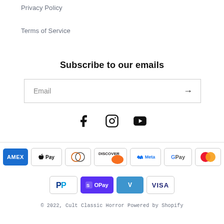Privacy Policy
Terms of Service
Subscribe to our emails
Email
[Figure (infographic): Social media icons: Facebook, Instagram, YouTube]
[Figure (infographic): Payment method badges: American Express, Apple Pay, Diners Club, Discover, Meta Pay, Google Pay, Mastercard, PayPal, Shop Pay, Venmo, Visa]
© 2022, Cult Classic Horror Powered by Shopify